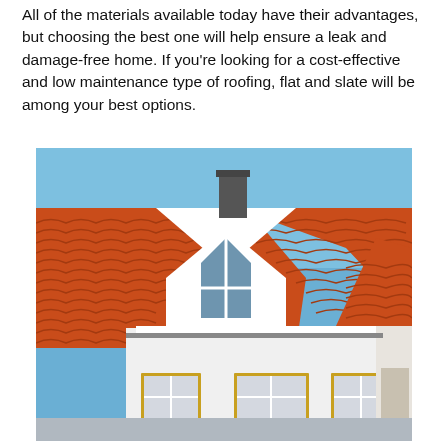All of the materials available today have their advantages, but choosing the best one will help ensure a leak and damage-free home. If you're looking for a cost-effective and low maintenance type of roofing, flat and slate will be among your best options.
[Figure (photo): Photograph of a house with a steep pitched roof covered in terracotta/orange clay roof tiles. The house has white walls, large triangular dormers with glass windows, a brick chimney at the top, and yellow-trimmed lower windows. The sky is clear blue.]